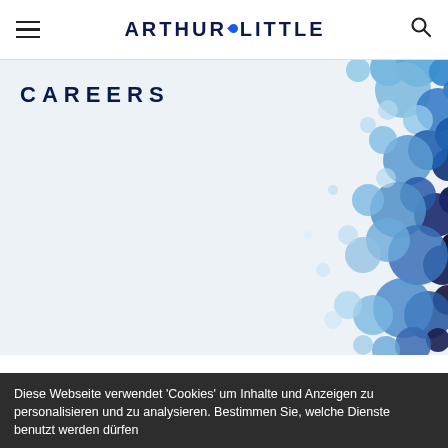ARTHUR LITTLE
CAREERS
[Figure (illustration): Decorative image of scattered blue and dark navy bubbles/spheres of varying sizes on a light background, clustered in the upper-right portion of the hero banner.]
Diese Webseite verwendet 'Cookies' um Inhalte und Anzeigen zu personalisieren und zu analysieren. Bestimmen Sie, welche Dienste benutzt werden dürfen
✓ Alle akzeptieren
✗ Verbiete alle Cookies
Personalisieren
Datenschutzbestimmungen